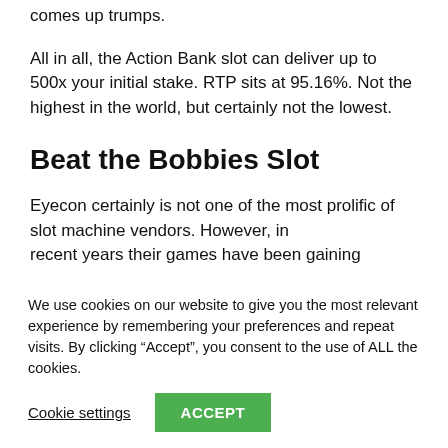comes up trumps.
All in all, the Action Bank slot can deliver up to 500x your initial stake. RTP sits at 95.16%. Not the highest in the world, but certainly not the lowest.
Beat the Bobbies Slot
Eyecon certainly is not one of the most prolific of slot machine vendors. However, in recent years their games have been gaining...
We use cookies on our website to give you the most relevant experience by remembering your preferences and repeat visits. By clicking “Accept”, you consent to the use of ALL the cookies.
Cookie settings   ACCEPT